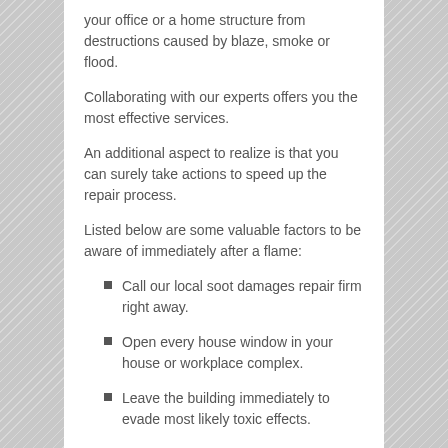your office or a home structure from destructions caused by blaze, smoke or flood.
Collaborating with our experts offers you the most effective services.
An additional aspect to realize is that you can surely take actions to speed up the repair process.
Listed below are some valuable factors to be aware of immediately after a flame:
Call our local soot damages repair firm right away.
Open every house window in your house or workplace complex.
Leave the building immediately to evade most likely toxic effects.